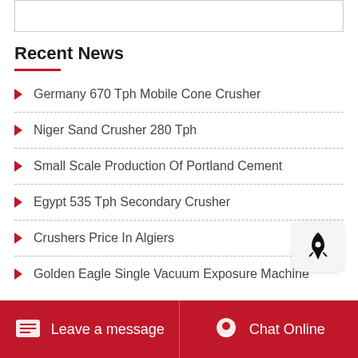Recent News
Germany 670 Tph Mobile Cone Crusher
Niger Sand Crusher 280 Tph
Small Scale Production Of Portland Cement
Egypt 535 Tph Secondary Crusher
Crushers Price In Algiers
Golden Eagle Single Vacuum Exposure Machine
Leave a message   Chat Online